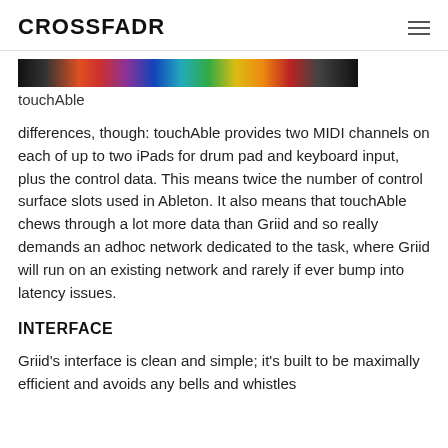CROSSFADR
[Figure (photo): Cropped bottom portion of a colorful touchAble app interface screenshot showing various colored pads/keys]
touchAble
differences, though: touchAble provides two MIDI channels on each of up to two iPads for drum pad and keyboard input, plus the control data. This means twice the number of control surface slots used in Ableton. It also means that touchAble chews through a lot more data than Griid and so really demands an adhoc network dedicated to the task, where Griid will run on an existing network and rarely if ever bump into latency issues.
INTERFACE
Griid's interface is clean and simple; it's built to be maximally efficient and avoids any bells and whistles